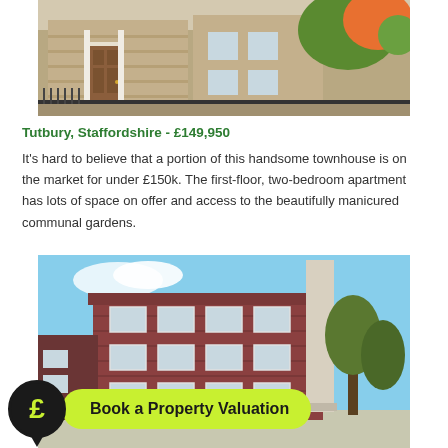[Figure (photo): Exterior photo of a stone townhouse with white-framed windows and ornate iron fence, trees in background]
Tutbury, Staffordshire - £149,950
It's hard to believe that a portion of this handsome townhouse is on the market for under £150k. The first-floor, two-bedroom apartment has lots of space on offer and access to the beautifully manicured communal gardens.
[Figure (photo): Exterior photo of a red-brick townhouse, three storeys tall, blue sky background, tall chimney/pillar visible, trees on right side]
Book a Property Valuation